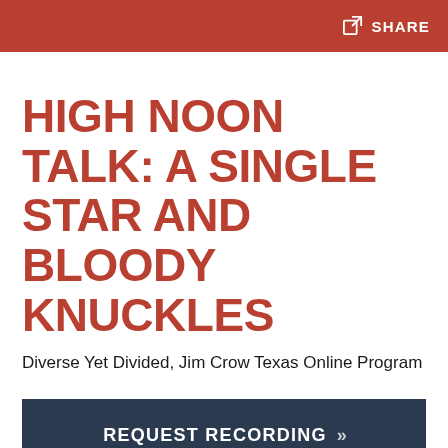SHARE
HIGH NOON TALK: A SINGLE STAR AND BLOODY KNUCKLES
Diverse Yet Divided, Jim Crow Texas Online Program
REQUEST RECORDING »
June 3, 2021 12:00pm - 1:00pm
A new look at the contentious history of Texas